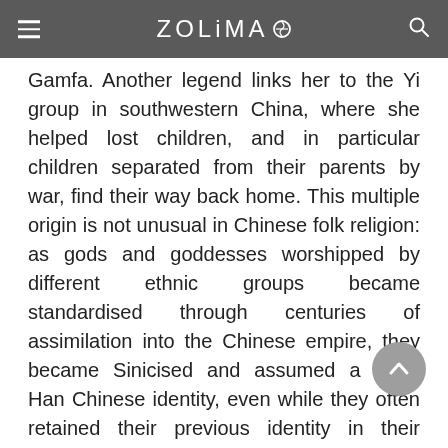ZOLIMA
Gamfa. Another legend links her to the Yi group in southwestern China, where she helped lost children, and in particular children separated from their parents by war, find their way back home. This multiple origin is not unusual in Chinese folk religion: as gods and goddesses worshipped by different ethnic groups became standardised through centuries of assimilation into the Chinese empire, they became Sinicised and assumed a more Han Chinese identity, even while they often retained their previous identity in their birthplaces.
Few of these twists are apparent in Mui Wo, however, where pride of place is given to Gamfa Fuyen's twelve assistants, the Twelve Wet